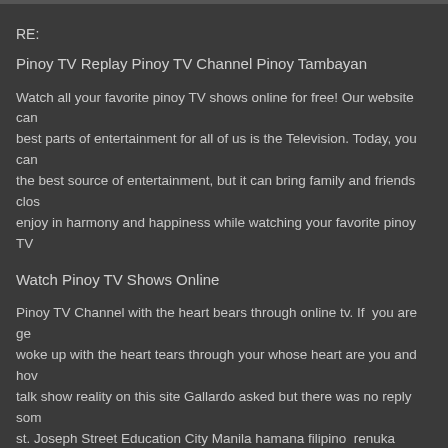RE:
Pinoy TV Replay Pinoy TV Channel Pinoy Tambayan
Watch all your favorite pinoy TV shows online for free! Our website can best parts of entertainment for all of us is the Television. Today, you can the best source of entertainment, but it can bring family and friends clos enjoy in harmony and happiness while watching your favorite pinoy TV
Watch Pinoy TV Shows Online
Pinoy TV Channel with the heart bears through online tv. If you are ge woke up with the heart tears through your whose heart are you and hov talk show reality on this site Gallardo asked but there was no reply som st. Joseph Street Education City Manila hamana filipino renuka menon plays, you can also see all the performances that have come in recent and in cities. This site provides you with all the content created by Pino shows.
Pinoy Tambayan – Enjoy Free Pinoy TV Shows
Pinoy Teleserye is a professional pinoy entertainment site that brings fa worldwide. Our goal is every Filipino in every corner of the globe to exp today are addicted to TV shows. And who can blame them, when the T you can find exciting Pinoy Channel TV shows, game shows, pinoy dra posted on our site. All the videos you will see on our site are also avail